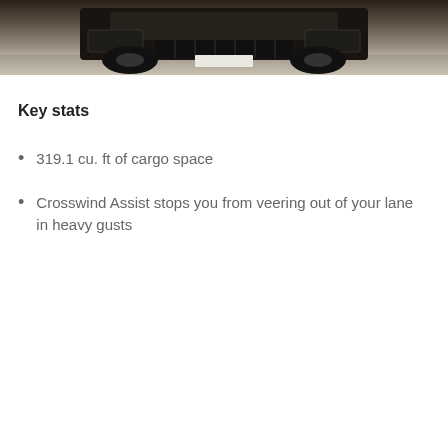[Figure (photo): Front view of a dark commercial van/truck parked on a street or loading area, photographed from a low angle showing the front grille and bumper against an urban background.]
Key stats
319.1 cu. ft of cargo space
Crosswind Assist stops you from veering out of your lane in heavy gusts